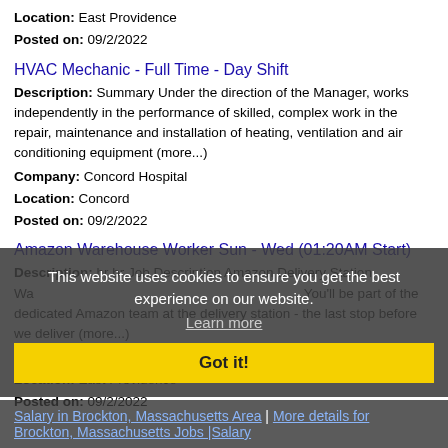Location: East Providence
Posted on: 09/2/2022
HVAC Mechanic - Full Time - Day Shift
Description: Summary Under the direction of the Manager, works independently in the performance of skilled, complex work in the repair, maintenance and installation of heating, ventilation and air conditioning equipment (more...)
Company: Concord Hospital
Location: Concord
Posted on: 09/2/2022
Amazon Warehouse Worker Sun - Wed (01:20AM Start)
Description: br br Job Description Amazon Delivery Station Wa... You'll be part of the dedicated Amazon team at the delivery station - the last stop before we deliver (more...)
Company: Amazon
Location: East Providence
Posted on: 09/2/2022
This website uses cookies to ensure you get the best experience on our website. Learn more Got it!
Salary in Brockton, Massachusetts Area | More details for Brockton, Massachusetts Jobs |Salary